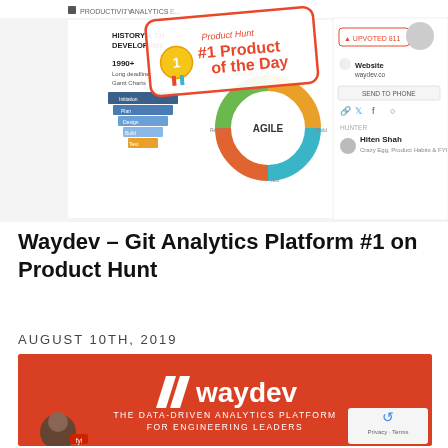[Figure (screenshot): Product Hunt screenshot showing Waydev Git Analytics Platform as #1 Product of the Day with upvote count 811, website waydev.co, hunter Hiten Shah, and a diagram showing history of development methodologies (1990+ Waterfall, Agile, 2020+ Real-time data Benchmarking)]
Waydev – Git Analytics Platform #1 on Product Hunt
AUGUST 10TH, 2019
[Figure (screenshot): Waydev orange banner showing logo with double slash icon, company name 'waydev', and tagline 'THE DATA-DRIVEN ANALYTICS PLATFORM FOR ENGINEERING LEADERS'. Avatar of person in bottom-left, reCAPTCHA badge bottom-right.]